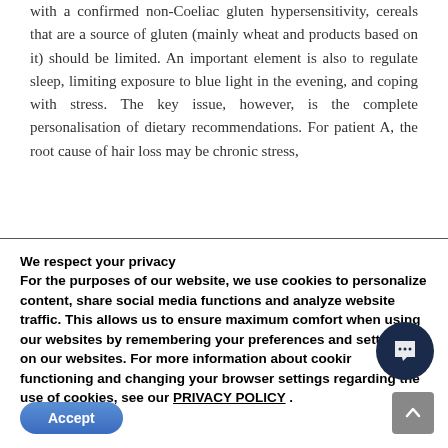with a confirmed non-Coeliac gluten hypersensitivity, cereals that are a source of gluten (mainly wheat and products based on it) should be limited. An important element is also to regulate sleep, limiting exposure to blue light in the evening, and coping with stress. The key issue, however, is the complete personalisation of dietary recommendations. For patient A, the root cause of hair loss may be chronic stress,
We respect your privacy
For the purposes of our website, we use cookies to personalize content, share social media functions and analyze website traffic. This allows us to ensure maximum comfort when using our websites by remembering your preferences and settings on our websites. For more information about cookie functioning and changing your browser settings regarding the use of cookies, see our PRIVACY POLICY .